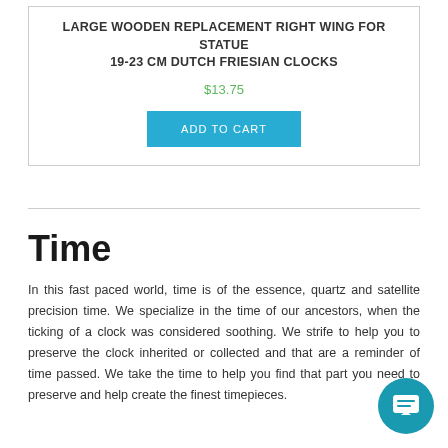LARGE WOODEN REPLACEMENT RIGHT WING FOR STATUE 19-23 CM DUTCH FRIESIAN CLOCKS
$13.75
ADD TO CART
Time
In this fast paced world, time is of the essence, quartz and satellite precision time. We specialize in the time of our ancestors, when the ticking of a clock was considered soothing. We strife to help you to preserve the clock inherited or collected and that are a reminder of time passed. We take the time to help you find that part you need to preserve and help create the finest timepieces.